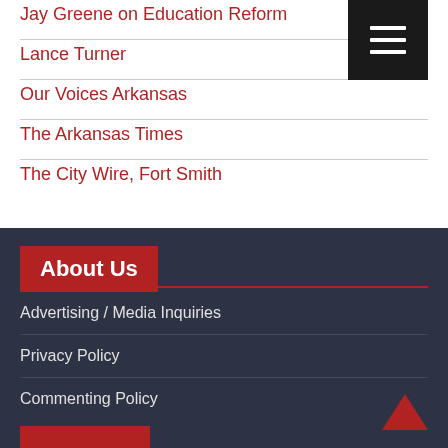Jay Greene on Education Reform
Lance Turner
Our Voices Arkansas
The Arkansas Times
The City Wire, Fort Smith
About Us
Advertising / Media Inquiries
Privacy Policy
Commenting Policy